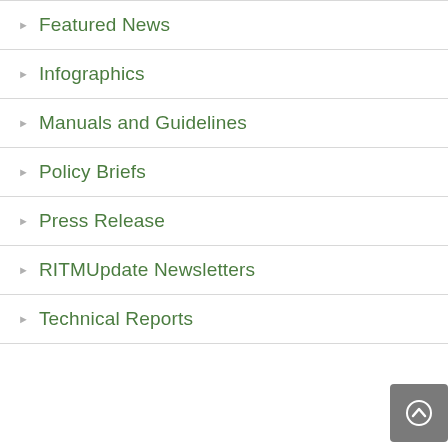Featured News
Infographics
Manuals and Guidelines
Policy Briefs
Press Release
RITMUpdate Newsletters
Technical Reports